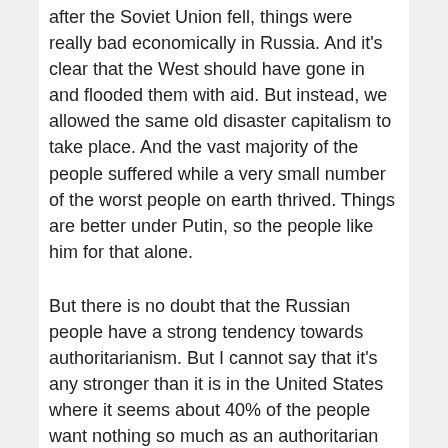after the Soviet Union fell, things were really bad economically in Russia. And it's clear that the West should have gone in and flooded them with aid. But instead, we allowed the same old disaster capitalism to take place. And the vast majority of the people suffered while a very small number of the worst people on earth thrived. Things are better under Putin, so the people like him for that alone.
But there is no doubt that the Russian people have a strong tendency towards authoritarianism. But I cannot say that it's any stronger than it is in the United States where it seems about 40% of the people want nothing so much as an authoritarian they can follow. The idea that the Russian people will turn on Putin because he's an authoritarian is absurd.